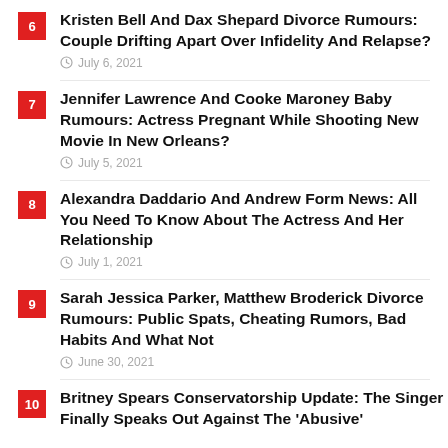6 | Kristen Bell And Dax Shepard Divorce Rumours: Couple Drifting Apart Over Infidelity And Relapse? | July 6, 2021
7 | Jennifer Lawrence And Cooke Maroney Baby Rumours: Actress Pregnant While Shooting New Movie In New Orleans? | July 5, 2021
8 | Alexandra Daddario And Andrew Form News: All You Need To Know About The Actress And Her Relationship | July 1, 2021
9 | Sarah Jessica Parker, Matthew Broderick Divorce Rumours: Public Spats, Cheating Rumors, Bad Habits And What Not | June 30, 2021
10 | Britney Spears Conservatorship Update: The Singer Finally Speaks Out Against The 'Abusive'